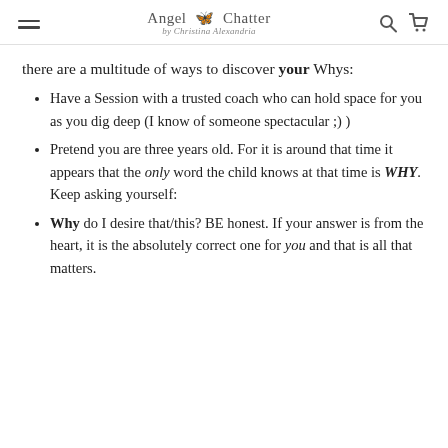Angel Chatter by Christina Alexandria
there are a multitude of ways to discover your Whys:
Have a Session with a trusted coach who can hold space for you as you dig deep (I know of someone spectacular ;) )
Pretend you are three years old. For it is around that time it appears that the only word the child knows at that time is WHY. Keep asking yourself:
Why do I desire that/this? BE honest. If your answer is from the heart, it is the absolutely correct one for you and that is all that matters.